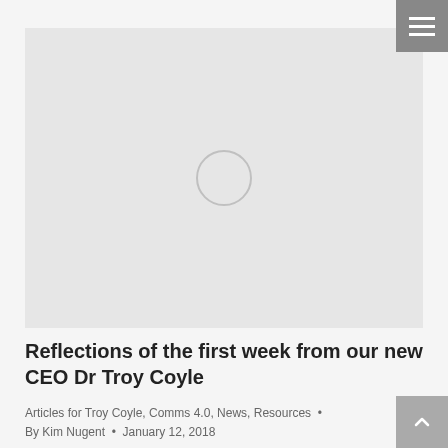[Figure (screenshot): Gray placeholder hero image with a loading spinner circle in the center]
Reflections of the first week from our new CEO Dr Troy Coyle
Articles for Troy Coyle, Comms 4.0, News, Resources  •  By Kim Nugent  •  January 12, 2018
I'm very excited to have just finished my first